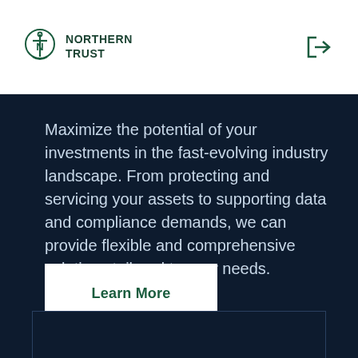NORTHERN TRUST
Maximize the potential of your investments in the fast-evolving industry landscape. From protecting and servicing your assets to supporting data and compliance demands, we can provide flexible and comprehensive solutions tailored to your needs.
Learn More